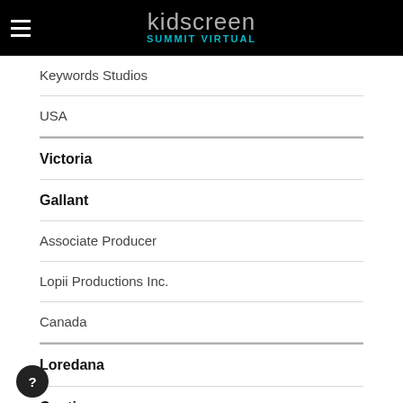kidscreen SUMMIT VIRTUAL
Keywords Studios
USA
Victoria
Gallant
Associate Producer
Lopii Productions Inc.
Canada
Loredana
Cunti
Executive Producer
Loreworks Ltd.